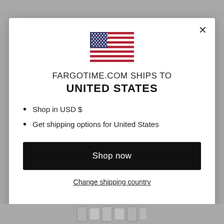[Figure (screenshot): US flag icon shown at top center of modal dialog]
FARGOTIME.COM SHIPS TO
UNITED STATES
Shop in USD $
Get shipping options for United States
Shop now
Change shipping country